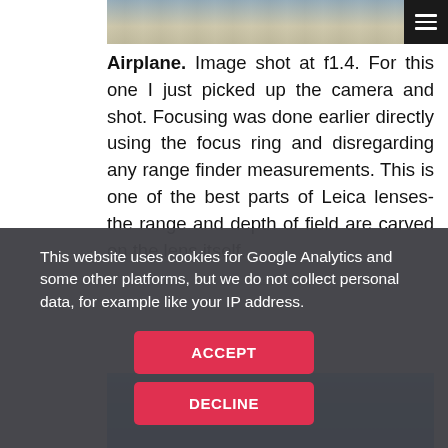[Figure (photo): Partial view of classical columns architecture photo at top of page]
Airplane. Image shot at f1.4. For this one I just picked up the camera and shot. Focusing was done earlier directly using the focus ring and disregarding any range finder measurements. This is one of the best parts of Leica lenses- the range and depth of field are carved on the lens itself.
[Figure (photo): Blue sky gradient photo, partially visible]
This website uses cookies for Google Analytics and some other platforms, but we do not collect personal data, for example like your IP address.
ACCEPT
DECLINE